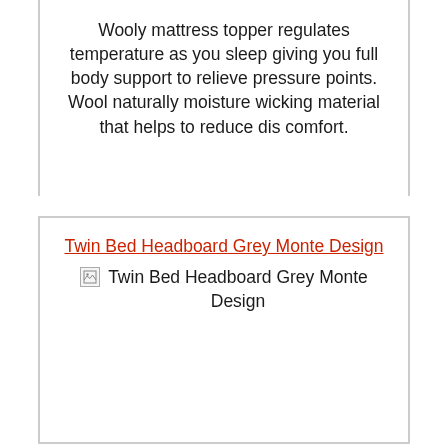Wooly mattress topper regulates temperature as you sleep giving you full body support to relieve pressure points. Wool naturally moisture wicking material that helps to reduce dis comfort.
Twin Bed Headboard Grey Monte Design
[Figure (other): Broken image placeholder with alt text: Twin Bed Headboard Grey Monte Design]